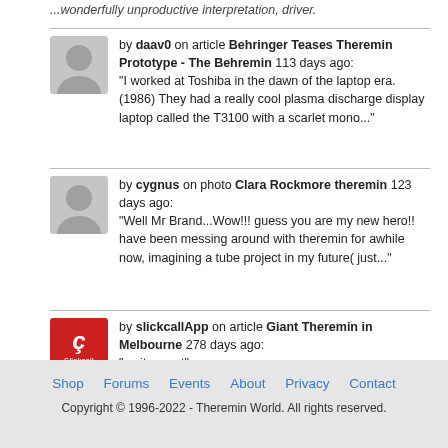...wonderfully unproductive interpretation, driver.
by daav0 on article Behringer Teases Theremin Prototype - The Behremin 113 days ago: "I worked at Toshiba in the dawn of the laptop era. (1986) They had a really cool plasma discharge display laptop called the T3100 with a scarlet mono..."
by cygnus on photo Clara Rockmore theremin 123 days ago: "Well Mr Brand...Wow!!! guess you are my new hero!! have been messing around with theremin for awhile now, imagining a tube project in my future( just..."
by slickcallApp on article Giant Theremin in Melbourne 278 days ago: "so its great"
Shop   Forums   Events   About   Privacy   Contact
Copyright © 1996-2022 - Theremin World. All rights reserved.